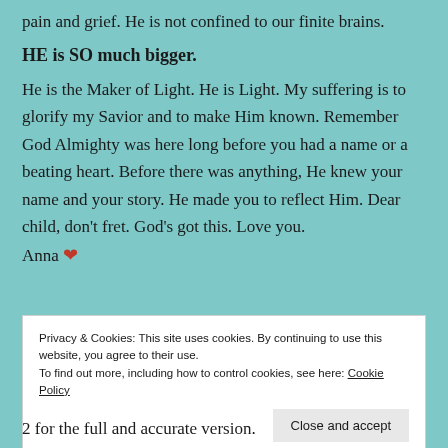pain and grief. He is not confined to our finite brains.
HE is SO much bigger.
He is the Maker of Light. He is Light. My suffering is to glorify my Savior and to make Him known. Remember God Almighty was here long before you had a name or a beating heart. Before there was anything, He knew your name and your story. He made you to reflect Him. Dear child, don’t fret. God’s got this. Love you. Anna ❤
Privacy & Cookies: This site uses cookies. By continuing to use this website, you agree to their use.
To find out more, including how to control cookies, see here: Cookie Policy
Close and accept
2 for the full and accurate version.